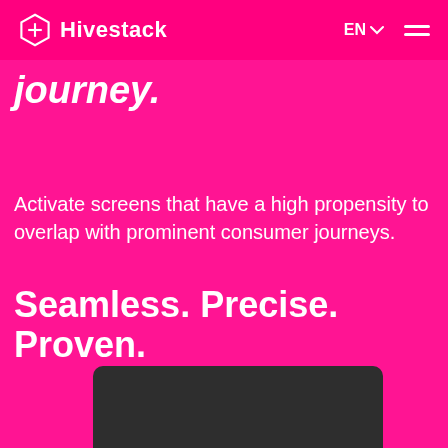Hivestack | EN | navigation menu
journey.
Activate screens that have a high propensity to overlap with prominent consumer journeys.
Seamless. Precise. Proven.
[Figure (screenshot): Partial view of a dark laptop/monitor screen frame at the bottom of the page on a bright pink background]